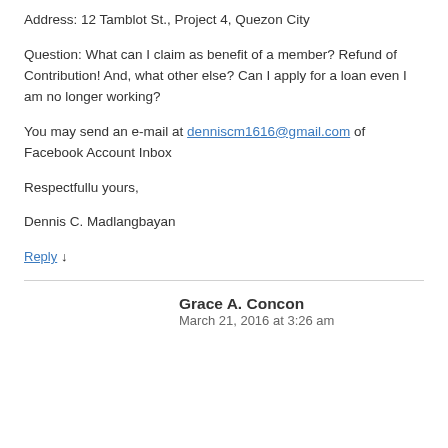Address: 12 Tamblot St., Project 4, Quezon City
Question: What can I claim as benefit of a member? Refund of Contribution! And, what other else? Can I apply for a loan even I am no longer working?
You may send an e-mail at denniscm1616@gmail.com of Facebook Account Inbox
Respectfullu yours,
Dennis C. Madlangbayan
Reply ↓
Grace A. Concon
March 21, 2016 at 3:26 am